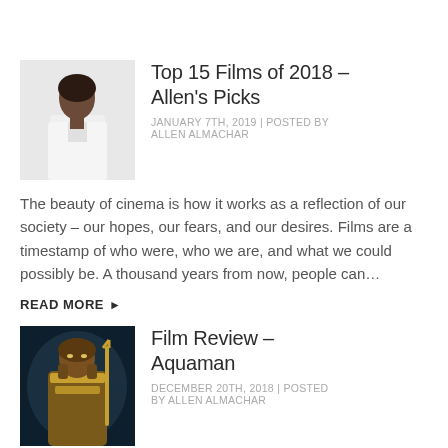[Figure (photo): Thumbnail photo of a woman in a white jacket against a light background]
Top 15 Films of 2018 – Allen's Picks
JANUARY 7TH, 2019 | POSTED BY ALLEN ALMACHAR
The beauty of cinema is how it works as a reflection of our society – our hopes, our fears, and our desires. Films are a timestamp of who were, who we are, and what we could possibly be. A thousand years from now, people can…
READ MORE ▶
[Figure (photo): Thumbnail photo showing Aquaman character in golden armor in a dark underwater scene]
Film Review – Aquaman
DECEMBER 20TH, 2018 | POSTED BY ALLEN ALMACHAR
The DC Cinematic Universe has...